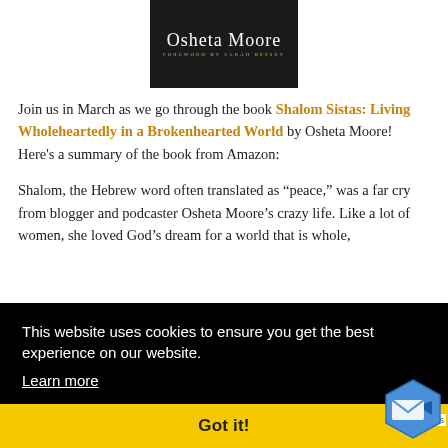[Figure (photo): Book cover image for 'Shalom Sistas' by Osheta Moore, dark background with stylized script text]
Join us in March as we go through the book Shalom Sistas: Living Wholeheartedly in a Brokenhearted World by Osheta Moore! Here's a summary of the book from Amazon:
Shalom, the Hebrew word often translated as “peace,” was a far cry from blogger and podcaster Osheta Moore’s crazy life. Like a lot of women, she loved God’s dream for a world that is whole, ... So one ... ne ... res
This website uses cookies to ensure you get the best experience on our website.
Learn more
Got it!